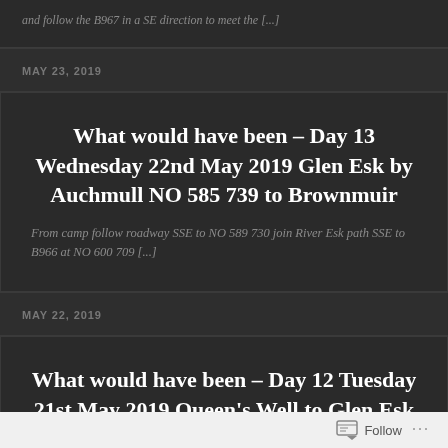and follow the B967 in a SE direction to meet the [...]
MAY 23, 2019
What would have been – Day 13 Wednesday 22nd May 2019 Glen Esk by Auchmull NO 585 739 to Brownmuir
From camp follow roadway SSE to NO 589 730 join River Esk path SSE to B966 at NO 600 709 [...]
MAY 22, 2019
What would have been – Day 12 Tuesday 21st May 2019 Queen's Well to Glen Esk
Follow